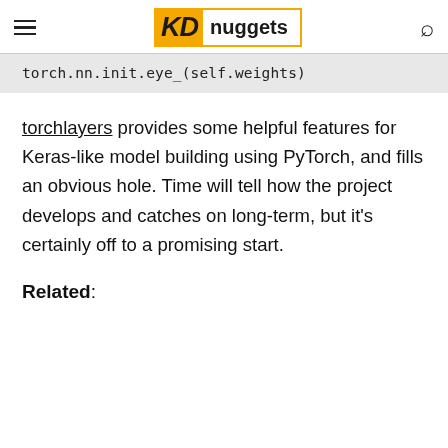KD nuggets
torch.nn.init.eye_(self.weights)
torchlayers provides some helpful features for Keras-like model building using PyTorch, and fills an obvious hole. Time will tell how the project develops and catches on long-term, but it's certainly off to a promising start.
Related: